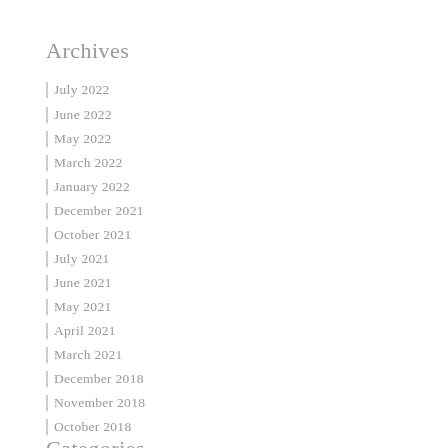Archives
July 2022
June 2022
May 2022
March 2022
January 2022
December 2021
October 2021
July 2021
June 2021
May 2021
April 2021
March 2021
December 2018
November 2018
October 2018
Categories